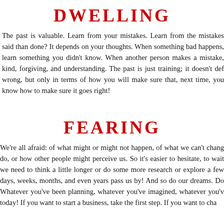DWELLING
The past is valuable. Learn from your mistakes. Learn from the mistakes said than done? It depends on your thoughts. When something bad happens, learn something you didn't know. When another person makes a mistake, kind, forgiving, and understanding. The past is just training; it doesn't define you. Think about what went wrong, but only in terms of how you will make sure that, next time, you know how to make sure it goes right!
FEARING
We're all afraid: of what might or might not happen, of what we can't change, of what we can do, or how other people might perceive us. So it's easier to hesitate, to wait until we need to think a little longer or do some more research or explore a few more options. And days, weeks, months, and even years pass us by! And so do our dreams. Do it now! Whatever you've been planning, whatever you've imagined, whatever you've been putting off today! If you want to start a business, take the first step. If you want to change...